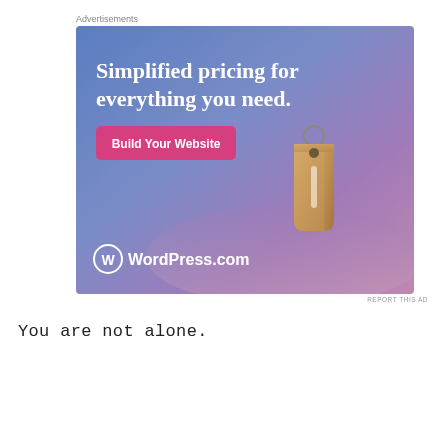Advertisements
[Figure (illustration): WordPress.com advertisement banner with blue-purple gradient background, price tag illustration, headline 'Simplified pricing for everything you need.', pink 'Build Your Website' button, and WordPress.com logo at bottom left.]
REPORT THIS AD
You are not alone.